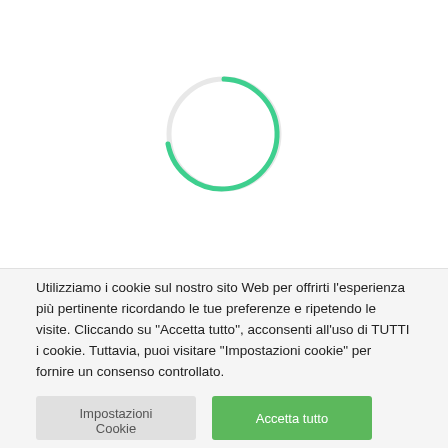[Figure (other): A loading spinner graphic — a circle arc in teal/green color on white background, indicating a page is loading.]
Utilizziamo i cookie sul nostro sito Web per offrirti l'esperienza più pertinente ricordando le tue preferenze e ripetendo le visite. Cliccando su "Accetta tutto", acconsenti all'uso di TUTTI i cookie. Tuttavia, puoi visitare "Impostazioni cookie" per fornire un consenso controllato.
Impostazioni Cookie
Accetta tutto